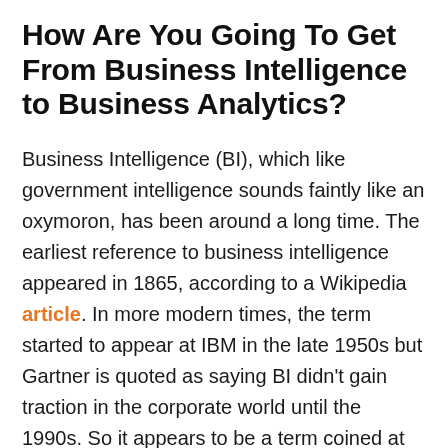How Are You Going To Get From Business Intelligence to Business Analytics?
Business Intelligence (BI), which like government intelligence sounds faintly like an oxymoron, has been around a long time. The earliest reference to business intelligence appeared in 1865, according to a Wikipedia article. In more modern times, the term started to appear at IBM in the late 1950s but Gartner is quoted as saying BI didn't gain traction in the corporate world until the 1990s. So it appears to be a term coined at the end of the Civil War that then moved into common usage with Decision Support Systems for data-based tactics and strategies, which were developed